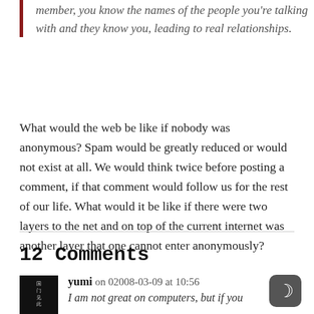member, you know the names of the people you're talking with and they know you, leading to real relationships.
What would the web be like if nobody was anonymous? Spam would be greatly reduced or would not exist at all. We would think twice before posting a comment, if that comment would follow us for the rest of our life. What would it be like if there were two layers to the net and on top of the current internet was another layer that one cannot enter anonymously?
12 Comments
yumi on 02008-03-09 at 10:56
I am not great on computers, but if you